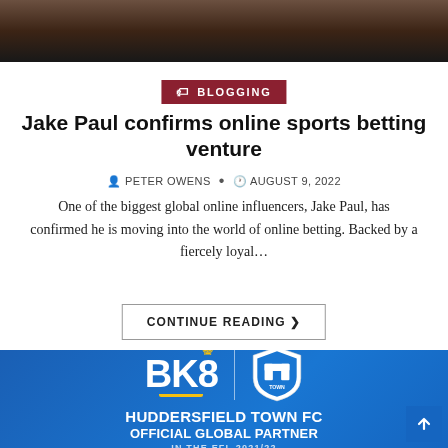[Figure (photo): Top portion of a photograph showing a person, dark background, cropped at bottom]
BLOGGING
Jake Paul confirms online sports betting venture
PETER OWENS • AUGUST 9, 2022
One of the biggest global online influencers, Jake Paul, has confirmed he is moving into the world of online betting. Backed by a fiercely loyal...
CONTINUE READING ❯
[Figure (logo): BK8 and Huddersfield Town FC partnership banner. Blue background with BK8 logo featuring a gold crown, vertical divider, Huddersfield Town FC shield. Text reads: HUDDERSFIELD TOWN FC OFFICIAL GLOBAL PARTNER IN THE EFL 2021/22]